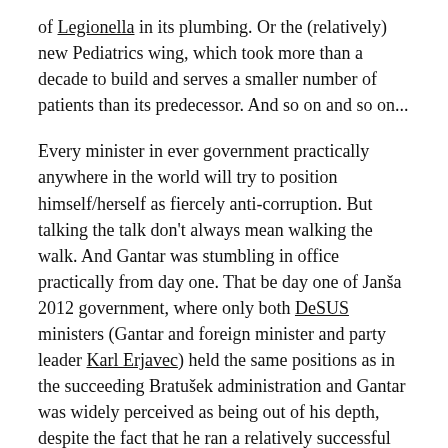of Legionella in its plumbing. Or the (relatively) new Pediatrics wing, which took more than a decade to build and serves a smaller number of patients than its predecessor. And so on and so on...
Every minister in ever government practically anywhere in the world will try to position himself/herself as fiercely anti-corruption. But talking the talk don't always mean walking the walk. And Gantar was stumbling in office practically from day one. That be day one of Janša 2012 government, where only both DeSUS ministers (Gantar and foreign minister and party leader Karl Erjavec) held the same positions as in the succeeding Bratušek administration and Gantar was widely perceived as being out of his depth, despite the fact that he ran a relatively successful hospital in coast town of Izola prior to his entry in politics. Therefore, although resonating, his statements on corruption are neither